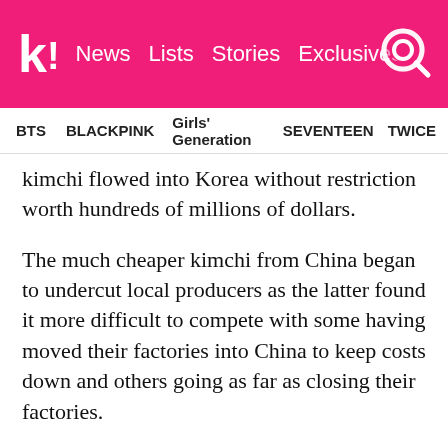k! News  Lists  Stories  Exclusives
BTS  BLACKPINK  Girls' Generation  SEVENTEEN  TWICE
kimchi flowed into Korea without restriction worth hundreds of millions of dollars.
The much cheaper kimchi from China began to undercut local producers as the latter found it more difficult to compete with some having moved their factories into China to keep costs down and others going as far as closing their factories.
Kim Soon Ja of Hansung Food stated, “We are the leaders in kimchi making. But because the material and costs are cheaper in China, there is more Chinese kimchi in Korea. Now, there is